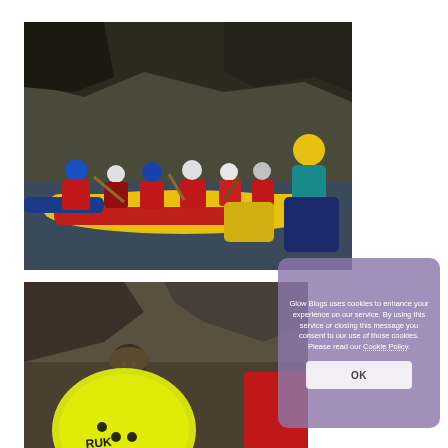[Figure (photo): Group of young people wearing helmets and life jackets with colourful canoes inside a cave or rocky overhang, outdoor adventure activity]
[Figure (photo): Person wearing a yellow RUK helmet in a rocky outdoor setting, adventure/canoeing activity]
Glow Blogs uses cookies to enhance your experience on our service. By using this service or closing this message you consent to our use of those cookies. Please read our Cookie Policy.
OK